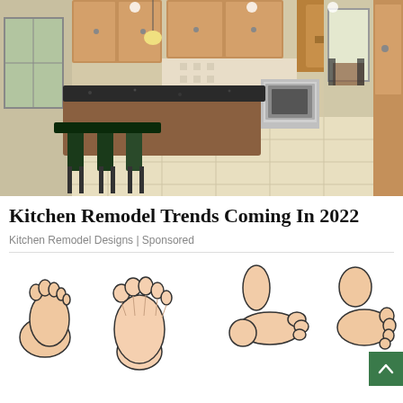[Figure (photo): Interior photo of a kitchen with wooden cabinets, granite island countertop with dark barstools, tile floor, stainless steel appliances, pendant lights, and a view through to a dining area and outdoor windows.]
Kitchen Remodel Trends Coming In 2022
Kitchen Remodel Designs | Sponsored
[Figure (illustration): Cartoon/illustration of multiple human feet in different positions and angles, showing various foot shapes and orientations on a white background.]